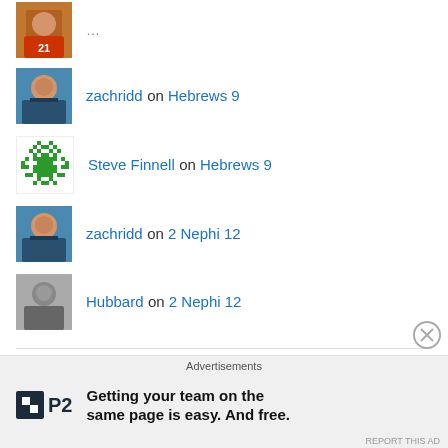zachridd on Hebrews 9
Steve Finnell on Hebrews 9
zachridd on 2 Nephi 12
Hubbard on 2 Nephi 12
Archives
October 2020
Advertisements
Getting your team on the same page is easy. And free.